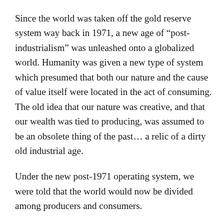Since the world was taken off the gold reserve system way back in 1971, a new age of “post-industrialism” was unleashed onto a globalized world. Humanity was given a new type of system which presumed that both our nature and the cause of value itself were located in the act of consuming. The old idea that our nature was creative, and that our wealth was tied to producing, was assumed to be an obsolete thing of the past… a relic of a dirty old industrial age.
Under the new post-1971 operating system, we were told that the world would now be divided among producers and consumers.
The “have-not producers” would provide the cheap labor which first world consumers would increasingly